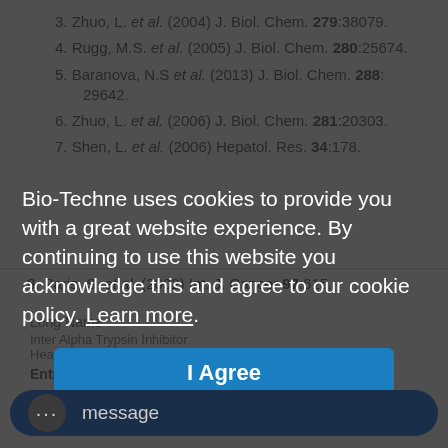3. Zhuo, L. et al. (2004) J. Biol. Chem. 279:38079.
4. Rugg, M.S. et al. (2005) J. Biol. Chem. 280:25674.
5. Baranova, N.S et al. (2013) J. Biol. Chem. 288: 29642.
6. Zhuo, L. et al. (2006) J. Biol. Chem. 281:20303.
7. Shen, L. et al. (2006) Hepatol. Res. 34:178.
8. Paris, S. et al. (2002) Int. J. Cancer 97:615.
Long Name
Inter Alpha Trypsin Inhibitor Heavy Chain 1
Entrez Gene IDs
Bio-Techne uses cookies to provide you with a great website experience. By continuing to use this website you acknowledge this and agree to our cookie policy. Learn more.